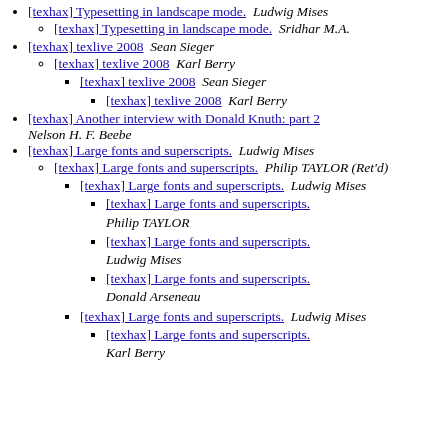[texhax] Typesetting in landscape mode.  Ludwig Mises
[texhax] Typesetting in landscape mode.  Sridhar M.A.
[texhax] texlive 2008  Sean Sieger
[texhax] texlive 2008  Karl Berry
[texhax] texlive 2008  Sean Sieger
[texhax] texlive 2008  Karl Berry
[texhax] Another interview with Donald Knuth: part 2  Nelson H. F. Beebe
[texhax] Large fonts and superscripts.  Ludwig Mises
[texhax] Large fonts and superscripts.  Philip TAYLOR (Ret'd)
[texhax] Large fonts and superscripts.  Ludwig Mises
[texhax] Large fonts and superscripts.  Philip TAYLOR
[texhax] Large fonts and superscripts.  Ludwig Mises
[texhax] Large fonts and superscripts.  Donald Arseneau
[texhax] Large fonts and superscripts.  Ludwig Mises
[texhax] Large fonts and superscripts.  Karl Berry